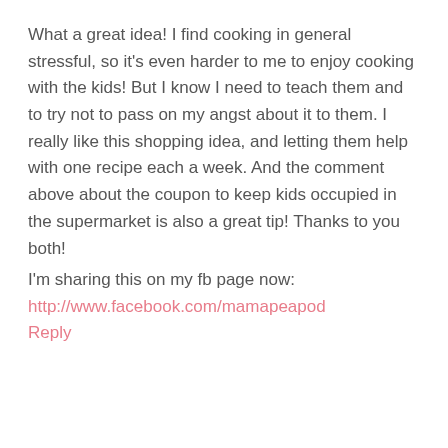What a great idea! I find cooking in general stressful, so it's even harder to me to enjoy cooking with the kids! But I know I need to teach them and to try not to pass on my angst about it to them. I really like this shopping idea, and letting them help with one recipe each a week. And the comment above about the coupon to keep kids occupied in the supermarket is also a great tip! Thanks to you both!
I'm sharing this on my fb page now:
http://www.facebook.com/mamapeapod
Reply
sheri says